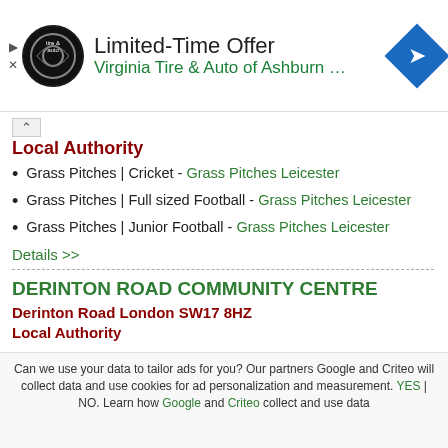[Figure (infographic): Advertisement banner for Virginia Tire & Auto of Ashburn with company logo, 'Limited-Time Offer' headline, and navigation/directions icon]
Local Authority
Grass Pitches | Cricket - Grass Pitches Leicester
Grass Pitches | Full sized Football - Grass Pitches Leicester
Grass Pitches | Junior Football - Grass Pitches Leicester
Details >>
DERINTON ROAD COMMUNITY CENTRE
Derinton Road London SW17 8HZ
Local Authority
Can we use your data to tailor ads for you? Our partners Google and Criteo will collect data and use cookies for ad personalization and measurement. YES | NO. Learn how Google and Criteo collect and use data